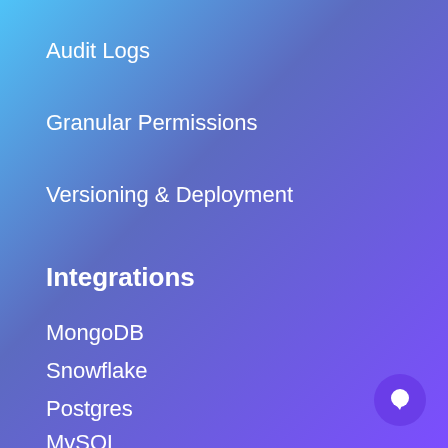Audit Logs
Granular Permissions
Versioning & Deployment
Integrations
MongoDB
Snowflake
Postgres
MySQL
BigQuery
Amazon S3